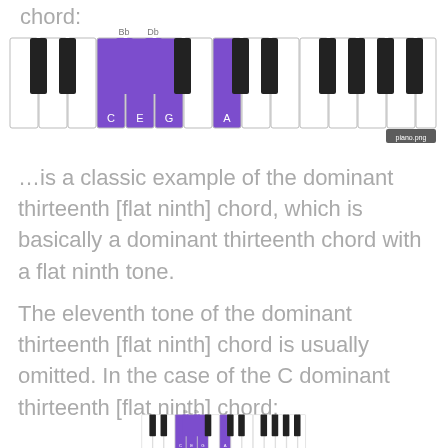chord:
[Figure (illustration): Piano keyboard diagram showing highlighted keys (C, E, G in purple on white keys; Bb and Db labeled above black keys; A in purple on white key) representing a dominant thirteenth flat ninth chord]
…is a classic example of the dominant thirteenth [flat ninth] chord, which is basically a dominant thirteenth chord with a flat ninth tone.
The eleventh tone of the dominant thirteenth [flat ninth] chord is usually omitted. In the case of the C dominant thirteenth [flat ninth] chord:
[Figure (illustration): Piano keyboard diagram showing highlighted keys (C, E, G in purple on white keys; Bb and Db labeled above black keys; A in purple on white key) representing the C dominant thirteenth flat ninth chord]